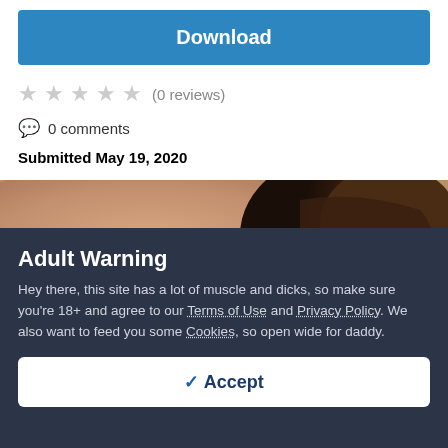Download
★★★★★ (0 reviews)
💬 0 comments
Submitted May 19, 2020
[Figure (photo): Partial view of a person lying down, showing back and head with dark wavy hair]
Adult Warning
Hey there, this site has a lot of muscle and dicks, so make sure you're 18+ and agree to our Terms of Use and Privacy Policy. We also want to feed you some Cookies, so open wide for daddy.
✓ Accept